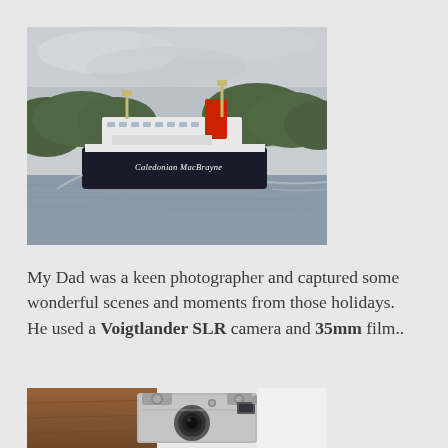[Figure (photo): A Caledonian MacBrayne ferry on a grey-skied loch or sea inlet, with wooded hills in the background. The dark-hulled ferry has a red funnel and white superstructure, with the name 'Caledonian MacBrayne' visible on the hull.]
My Dad was a keen photographer and captured some wonderful scenes and moments from those holidays. He used a Voigtlander SLR camera and 35mm film..
[Figure (photo): Close-up photograph of a Voigtlander SLR camera with a brown leather case, showing silver metallic body, dials and lens details.]